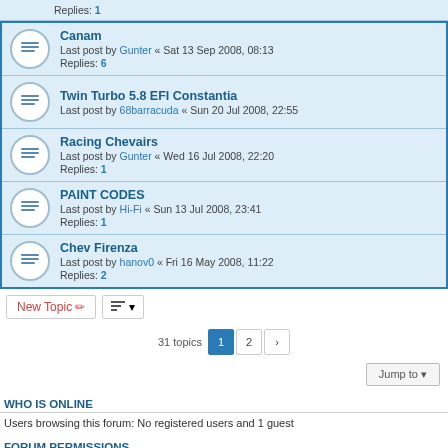Replies: 1
Canam
Last post by Gunter « Sat 13 Sep 2008, 08:13
Replies: 6
Twin Turbo 5.8 EFI Constantia
Last post by 68barracuda « Sun 20 Jul 2008, 22:55
Racing Chevairs
Last post by Gunter « Wed 16 Jul 2008, 22:20
Replies: 1
PAINT CODES
Last post by Hi-Fi « Sun 13 Jul 2008, 23:41
Replies: 1
Chev Firenza
Last post by hanov0 « Fri 16 May 2008, 11:22
Replies: 2
New Topic
31 topics  1  2  ›
Jump to
WHO IS ONLINE
Users browsing this forum: No registered users and 1 guest
FORUM PERMISSIONS
You cannot post new topics in this forum
You cannot reply to topics in this forum